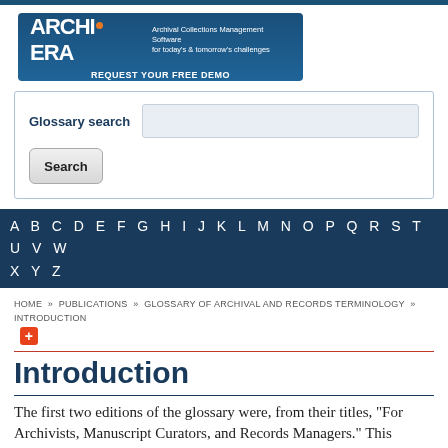[Figure (logo): ArchivEra banner ad: Archival Collections Management Software for today's & tomorrow's challenges. REQUEST YOUR FREE DEMO.]
Glossary search
Search
A B C D E F G H I J K L M N O P Q R S T U V W X Y Z
HOME » PUBLICATIONS » GLOSSARY OF ARCHIVAL AND RECORDS TERMINOLOGY » INTRODUCTION
Introduction
The first two editions of the glossary were, from their titles, "For Archivists, Manuscript Curators, and Records Managers." This glossary, to provide a more